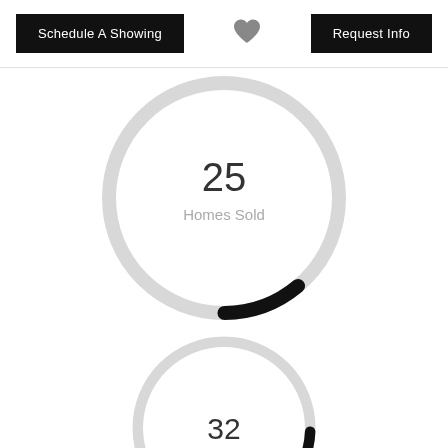Schedule A Showing
[Figure (other): Heart/favorite icon]
Request Info
[Figure (donut-chart): Donut chart showing 25 Homes Sold, small black arc on gray ring]
[Figure (donut-chart): Donut chart showing 32, small black arc on gray ring, partially visible]